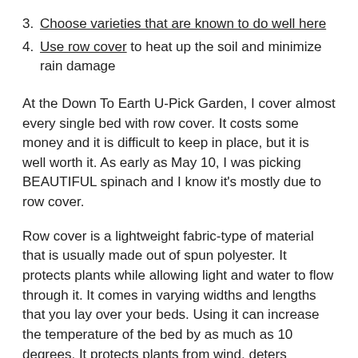3. Choose varieties that are known to do well here
4. Use row cover to heat up the soil and minimize rain damage
At the Down To Earth U-Pick Garden, I cover almost every single bed with row cover. It costs some money and it is difficult to keep in place, but it is well worth it. As early as May 10, I was picking BEAUTIFUL spinach and I know it's mostly due to row cover.
Row cover is a lightweight fabric-type of material that is usually made out of spun polyester. It protects plants while allowing light and water to flow through it. It comes in varying widths and lengths that you lay over your beds. Using it can increase the temperature of the bed by as much as 10 degrees. It protects plants from wind, deters harmful insects and minimizes rain damage.
Although it works to simply lay it over the bed and let the plants